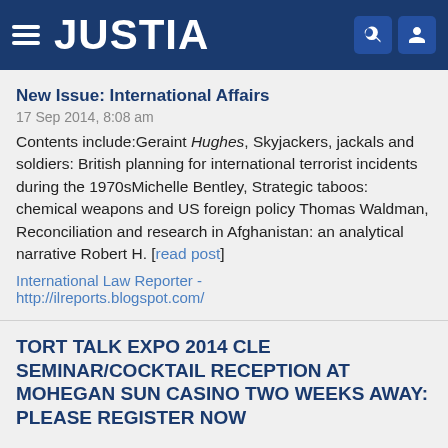JUSTIA
New Issue: International Affairs
17 Sep 2014, 8:08 am
Contents include:Geraint Hughes, Skyjackers, jackals and soldiers: British planning for international terrorist incidents during the 1970sMichelle Bentley, Strategic taboos: chemical weapons and US foreign policy Thomas Waldman, Reconciliation and research in Afghanistan: an analytical narrative Robert H. [read post]
International Law Reporter - http://ilreports.blogspot.com/
TORT TALK EXPO 2014 CLE SEMINAR/COCKTAIL RECEPTION AT MOHEGAN SUN CASINO TWO WEEKS AWAY: PLEASE REGISTER NOW